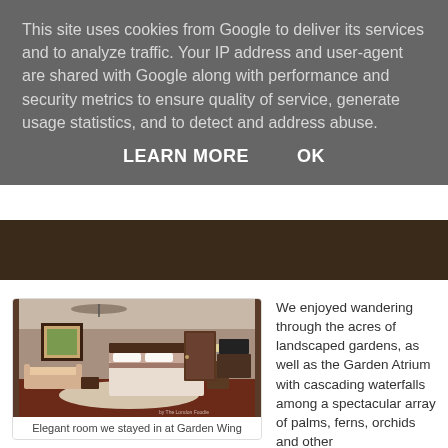This site uses cookies from Google to deliver its services and to analyze traffic. Your IP address and user-agent are shared with Google along with performance and security metrics to ensure quality of service, generate usage statistics, and to detect and address abuse.
LEARN MORE    OK
[Figure (photo): Interior photo of an elegant hotel room with a large bed, sofa, ceiling fan, framed artwork on the wall, and hardwood floors. Watermark reads 'by The London Foodie'.]
Elegant room we stayed in at Garden Wing
We enjoyed wandering through the acres of landscaped gardens, as well as the Garden Atrium with cascading waterfalls among a spectacular array of palms, ferns, orchids and other